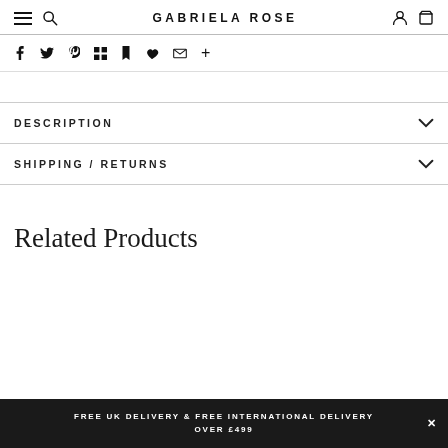GABRIELA ROSE
DESCRIPTION
SHIPPING / RETURNS
Related Products
FREE UK DELIVERY & FREE INTERNATIONAL DELIVERY OVER £499